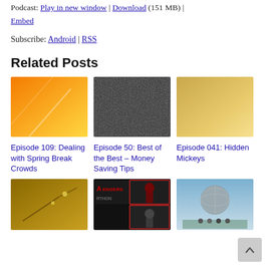Podcast: Play in new window | Download (151 MB) | Embed
Subscribe: Android | RSS
Related Posts
[Figure (photo): Orange gradient image for Episode 109]
Episode 109: Dealing with Spring Break Crowds
[Figure (photo): Dark textured image for Episode 50]
Episode 50: Best of the Best – Money Saving Tips
[Figure (photo): Gold/tan gradient image for Episode 041]
Episode 041: Hidden Mickeys
[Figure (photo): Nature/floral golden photo]
[Figure (photo): Avengers/Iron Man movie collage image]
[Figure (photo): Epcot sphere with family photo]